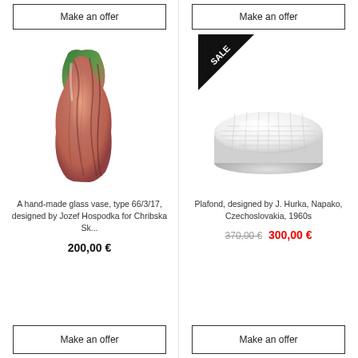Make an offer
Make an offer
[Figure (photo): A hand-made glass vase with green top fading to pink/salmon color with swirling pattern]
[Figure (photo): A round white plafond ceiling lamp with grid texture pattern, with a SALE badge]
A hand-made glass vase, type 66/3/17, designed by Jozef Hospodka for Chribska Sk...
Plafond, designed by J. Hurka, Napako, Czechoslovakia, 1960s
200,00 €
370,00 €  300,00 €
Make an offer
Make an offer